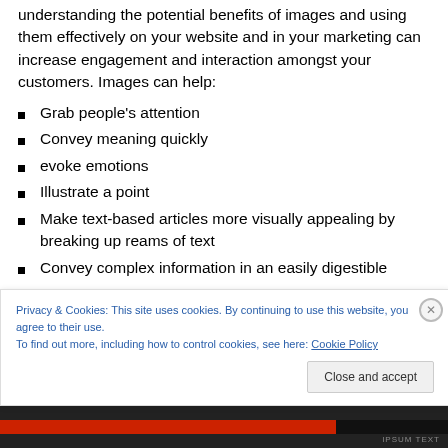understanding the potential benefits of images and using them effectively on your website and in your marketing can increase engagement and interaction amongst your customers. Images can help:
Grab people’s attention
Convey meaning quickly
evoke emotions
Illustrate a point
Make text-based articles more visually appealing by breaking up reams of text
Convey complex information in an easily digestible
Privacy & Cookies: This site uses cookies. By continuing to use this website, you agree to their use.
To find out more, including how to control cookies, see here: Cookie Policy